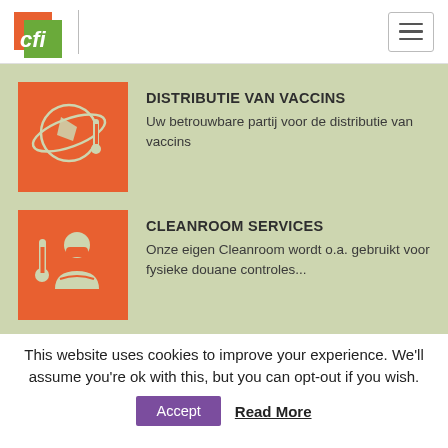CFI logo and navigation
DISTRIBUTIE VAN VACCINS
Uw betrouwbare partij voor de distributie van vaccins
CLEANROOM SERVICES
Onze eigen Cleanroom wordt o.a. gebruikt voor fysieke douane controles...
This website uses cookies to improve your experience. We'll assume you're ok with this, but you can opt-out if you wish.